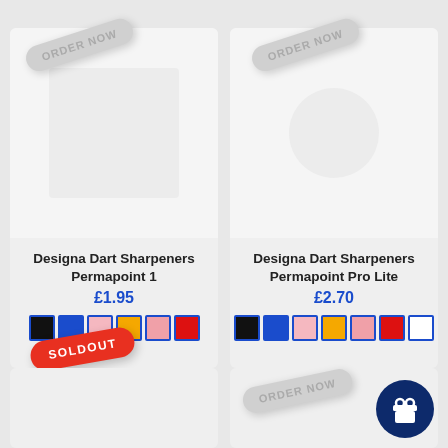[Figure (screenshot): Product listing page showing two dart sharpener products with order now badges, color swatches, prices, and a sold out badge]
Designa Dart Sharpeners Permapoint 1
£1.95
Designa Dart Sharpeners Permapoint Pro Lite
£2.70
SOLDOUT
ORDER NOW